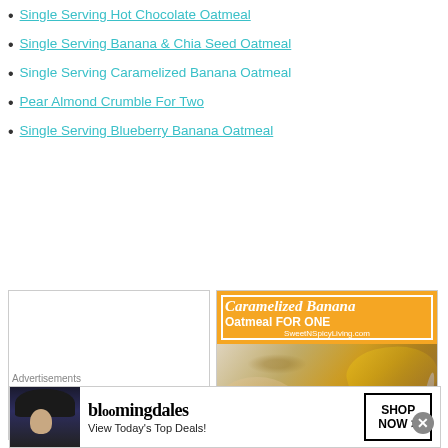Single Serving Hot Chocolate Oatmeal
Single Serving Banana & Chia Seed Oatmeal
Single Serving Caramelized Banana Oatmeal
Pear Almond Crumble For Two
Single Serving Blueberry Banana Oatmeal
[Figure (photo): Left: blank white placeholder box. Right: Caramelized Banana Oatmeal FOR ONE recipe card with orange banner header showing title in cursive/bold and SweetNSpicyLiving.com credit, below is a food photo showing a bowl of oatmeal with caramelized banana slices and walnuts, a spoon, and bananas in the background.]
Advertisements
[Figure (other): Bloomingdale's advertisement banner: 'bloomingdales / View Today's Top Deals!' on left, model with wide-brim hat in center, 'SHOP NOW >' button on right]